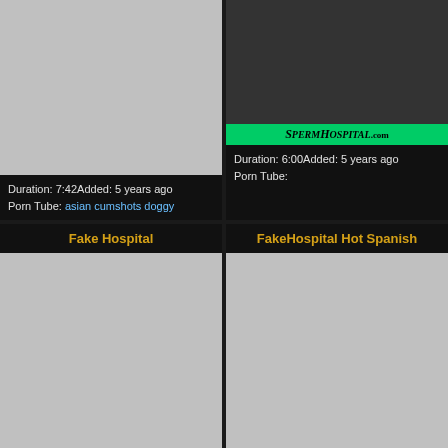[Figure (screenshot): Gray placeholder thumbnail for video]
Duration: 7:42Added: 5 years ago
Porn Tube: asian cumshots doggy
[Figure (screenshot): Video thumbnail showing adults, with SpermHospital.com green banner]
Duration: 6:00Added: 5 years ago
Porn Tube:
Fake Hospital
FakeHospital Hot Spanish
[Figure (screenshot): Gray placeholder thumbnail for video]
[Figure (screenshot): Gray placeholder thumbnail for video]